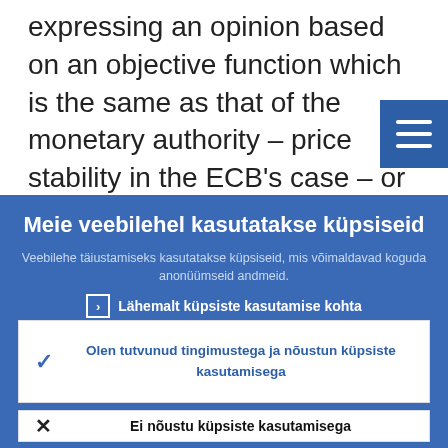expressing an opinion based on an objective function which is the same as that of the monetary authority – price stability in the ECB's case – or based on his/her specific
[Figure (screenshot): Cookie consent overlay in Estonian with blue background, showing title 'Meie veebilehel kasutatakse küpsiseid', description text, a link 'Lähemalt küpsiste kasutamise kohta', and two buttons: accept (checkmark) and reject (X)]
Meie veebilehel kasutatakse küpsiseid
Veebilehe täiustamiseks kasutatakse küpsiseid, mis võimaldavad koguda anonüümseid andmeid.
Lähemalt küpsiste kasutamise kohta
Olen tutvunud tingimustega ja nõustun küpsiste kasutamisega
Ei nõustu küpsiste kasutamisega